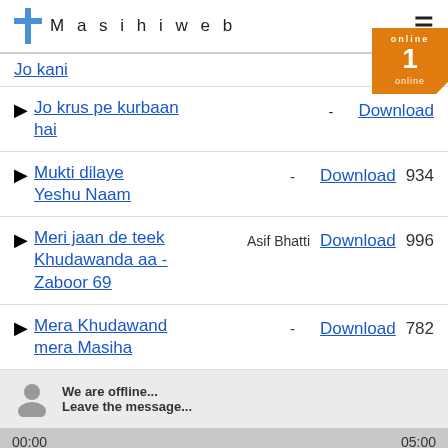Masihiweb
Jo krus pe kurbaan hai - Download
Mukti dilaye Yeshu Naam - Download 934
Meri jaan de teek Khudawanda aa - Zaboor 69 - Asif Bhatti - Download 996
Mera Khudawand mera Masiha - Download 782
We are offline... Leave the message...
00:00   Sab karo duawan   05:00